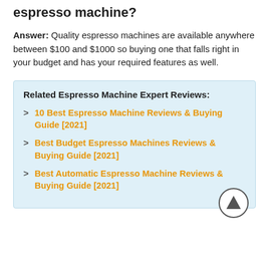espresso machine?
Answer: Quality espresso machines are available anywhere between $100 and $1000 so buying one that falls right in your budget and has your required features as well.
Related Espresso Machine Expert Reviews:
10 Best Espresso Machine Reviews & Buying Guide [2021]
Best Budget Espresso Machines Reviews & Buying Guide [2021]
Best Automatic Espresso Machine Reviews & Buying Guide [2021]